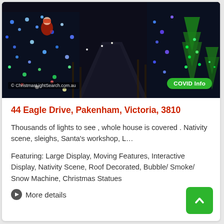[Figure (photo): Night photo of a house decorated with thousands of colorful Christmas lights along a driveway, with Santa and various Christmas decorations visible.]
44 Eagle Drive, Pakenham, Victoria, 3810
Thousands of lights to see , whole house is covered . Nativity scene, sleighs, Santa's workshop, L…
Featuring: Large Display, Moving Features, Interactive Display, Nativity Scene, Roof Decorated, Bubble/ Smoke/ Snow Machine, Christmas Statues
More details